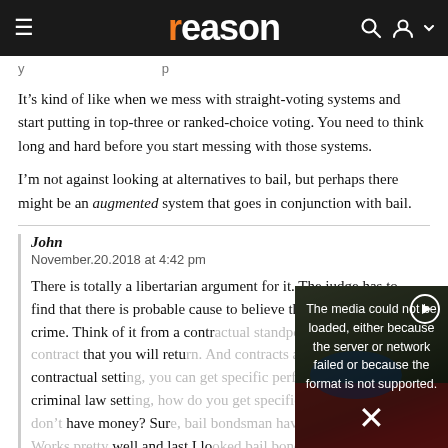reason
It’s kind of like when we mess with straight-voting systems and start putting in top-three or ranked-choice voting. You need to think long and hard before you start messing with those systems.
I’m not against looking at alternatives to bail, but perhaps there might be an augmented system that goes in conjunction with bail.
John
November.20.2018 at 4:42 pm
There is totally a libertarian argument for it. The judge has to find that there is probable cause to believe that you committed a crime. Think of it from a contractual standpoint. You are making a contract that you will return. And contracts are enforced. In a contractual setting, you can get specific performance. In a criminal law setting, how do you get specific performance if they don’t have money? Sure, bail bondsman have a bounty hunter. Works pretty well and last I looked bail bondsman are a perfectly good example of capitalism.
[Figure (screenshot): Video player overlay showing error message: 'The media could not be loaded, either because the server or network failed or because the format is not supported.' with a close X button and play button icon, overlaid on a background photo of protesters.]
Don’t look at m
November.20.2018 at 7:07 pm